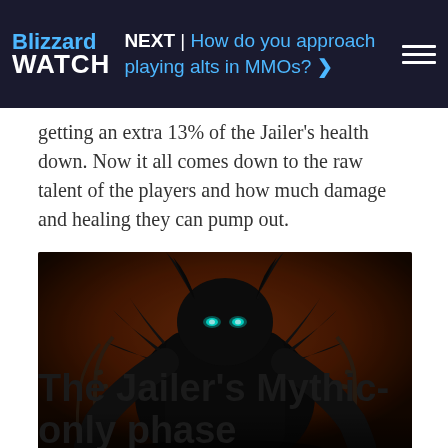NEXT | How do you approach playing alts in MMOs? >
getting an extra 13% of the Jailer's health down. Now it all comes down to the raw talent of the players and how much damage and healing they can pump out.
[Figure (photo): Dark silhouette of the Jailer boss character with glowing cyan eyes, horns, and chains, against an orange-red fiery background — World of Warcraft artwork.]
The Jailer's Mythic-only phase